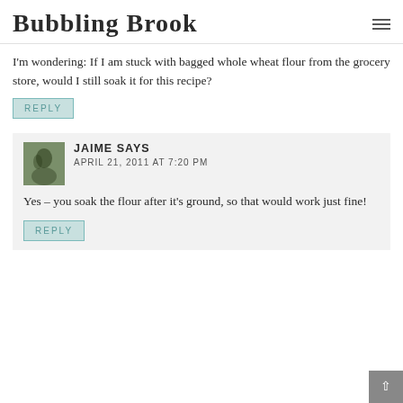Bubbling Brook
I'm wondering: If I am stuck with bagged whole wheat flour from the grocery store, would I still soak it for this recipe?
REPLY
JAIME SAYS
APRIL 21, 2011 AT 7:20 PM
Yes – you soak the flour after it's ground, so that would work just fine!
REPLY